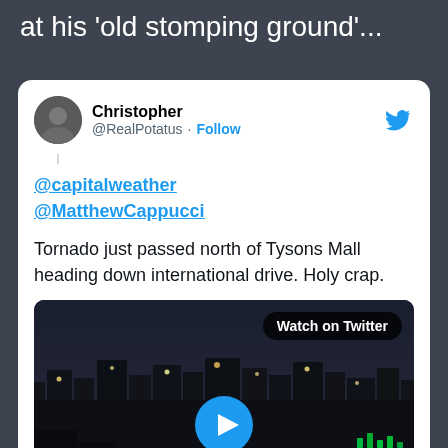at his 'old stomping ground'...
[Figure (screenshot): Embedded tweet from @RealPotatus (Christopher) with text mentioning @capitalweather @MatthewCappucci: 'Tornado just passed north of Tysons Mall heading down international drive. Holy crap.' with a video thumbnail showing a dark nighttime scene with city lights and a play button, labeled 'Watch on Twitter'.]